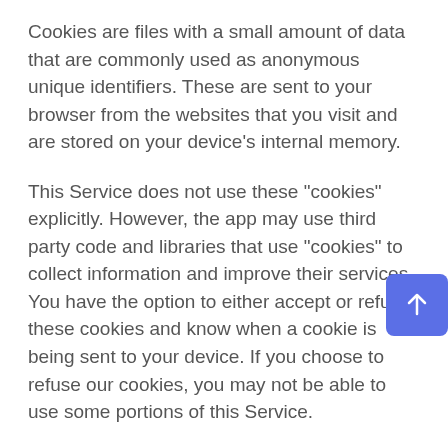Cookies are files with a small amount of data that are commonly used as anonymous unique identifiers. These are sent to your browser from the websites that you visit and are stored on your device's internal memory.
This Service does not use these "cookies" explicitly. However, the app may use third party code and libraries that use "cookies" to collect information and improve their services. You have the option to either accept or refuse these cookies and know when a cookie is being sent to your device. If you choose to refuse our cookies, you may not be able to use some portions of this Service.